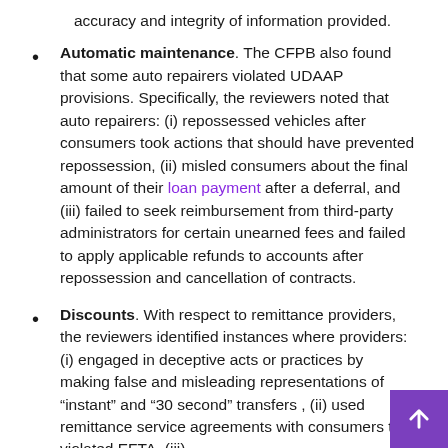accuracy and integrity of information provided.
Automatic maintenance. The CFPB also found that some auto repairers violated UDAAP provisions. Specifically, the reviewers noted that auto repairers: (i) repossessed vehicles after consumers took actions that should have prevented repossession, (ii) misled consumers about the final amount of their loan payment after a deferral, and (iii) failed to seek reimbursement from third-party administrators for certain unearned fees and failed to apply applicable refunds to accounts after repossession and cancellation of contracts.
Discounts. With respect to remittance providers, the reviewers identified instances where providers: (i) engaged in deceptive acts or practices by making false and misleading representations of “instant” and “30 second” transfers , (ii) used remittance service agreements with consumers that violated EFTA, (iii)